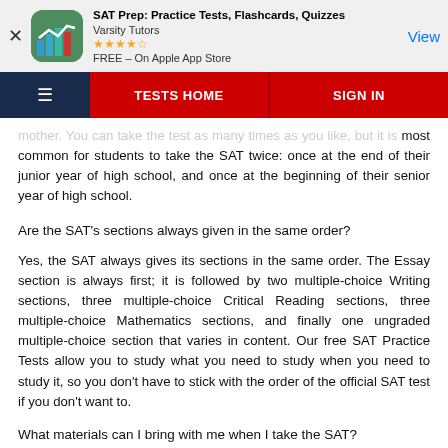[Figure (screenshot): App store advertisement banner for 'SAT Prep: Practice Tests, Flashcards, Quizzes' by Varsity Tutors. Shows app icon with bar chart graphic on green background, star rating (4.5 stars), FREE – On Apple App Store, and a blue 'View' button. Has an X close button on the left.]
[Figure (screenshot): Navigation bar with dark navy hamburger menu on left, red 'TESTS HOME' center section, and red 'SIGN IN' right section with vertical divider.]
...mother. You can take the test as many times as you like, but it is most common for students to take the SAT twice: once at the end of their junior year of high school, and once at the beginning of their senior year of high school.
Are the SAT's sections always given in the same order?
Yes, the SAT always gives its sections in the same order. The Essay section is always first; it is followed by two multiple-choice Writing sections, three multiple-choice Critical Reading sections, three multiple-choice Mathematics sections, and finally one ungraded multiple-choice section that varies in content. Our free SAT Practice Tests allow you to study what you need to study when you need to study it, so you don't have to stick with the order of the official SAT test if you don't want to.
What materials can I bring with me when I take the SAT?